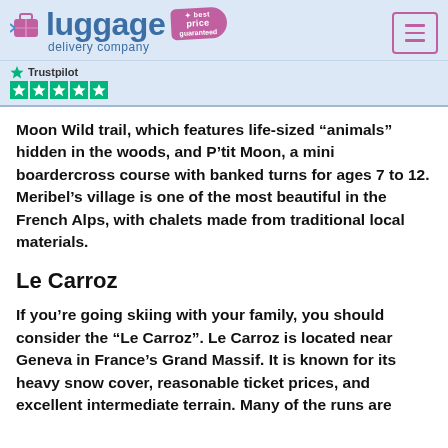[Figure (logo): Luggage Delivery Company logo with pink tag reading 'best price guaranteed' and suitcase icon, plus hamburger menu button]
[Figure (logo): Trustpilot logo with 5 green star rating]
Moon Wild trail, which features life-sized “animals” hidden in the woods, and P’tit Moon, a mini boardercross course with banked turns for ages 7 to 12. Meribel’s village is one of the most beautiful in the French Alps, with chalets made from traditional local materials.
Le Carroz
If you’re going skiing with your family, you should consider the “Le Carroz”. Le Carroz is located near Geneva in France’s Grand Massif. It is known for its heavy snow cover, reasonable ticket prices, and excellent intermediate terrain. Many of the runs are